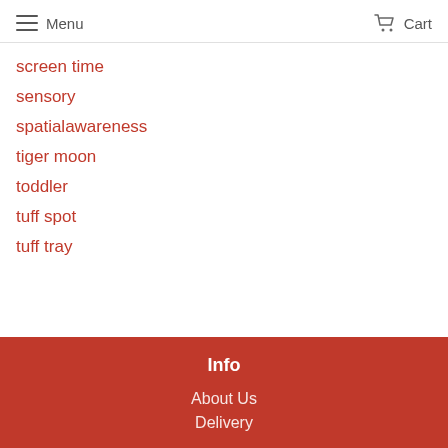Menu  Cart
screen time
sensory
spatialawareness
tiger moon
toddler
tuff spot
tuff tray
Info
About Us
Delivery